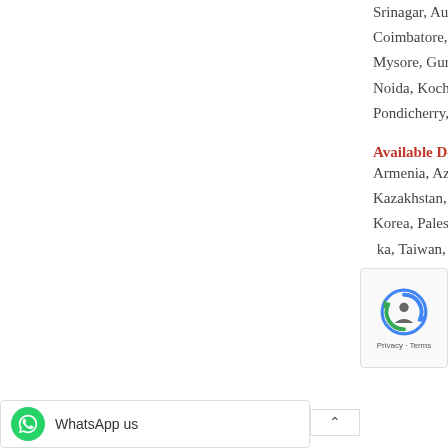Srinagar, Aurangabad, Amritsar, Navi Mumbai, Allahabad, Howrah, Ranchi, Gwalior, Jabalpur, Coimbatore, Vijayawada, Madurai, Raipur, Kota, Chandigarh, Guwahati, Sholapur, Bareilly, Mysore, Gurgaon, Aligarh, Jalandhar, Bhubaneswar, Thiruvananthapuram, Guntur, Bhiwandi, Noida, Kochi, Dehradun, Ajmer, Ujjain, Silliguri, Jammu, Mangalore, Udaipur, Shimla, Gangtok, Pondicherry, Anand, Goa. For delivery to other Indian Cities please contact us.
Available Delivery-Shipping Location in Asia :
Armenia, Azerbaijan, Bhutan, Brunei, Cambodia, China, Indonesia, Iran, Japan, Jordan, Kazakhstan, Kyrgyzstan, Laos, Malaysia, Maldives, Mauritius, Mongolia, Myanmar, Nepal, North Korea, Palestine, Philippines, Russia, Singapore, South Korea, Sri Lanka, Taiwan, Thailand, Turkey,